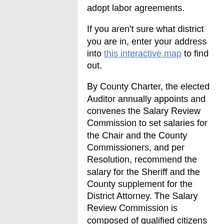adopt labor agreements.
If you aren't sure what district you are in, enter your address into this interactive map to find out.
By County Charter, the elected Auditor annually appoints and convenes the Salary Review Commission to set salaries for the Chair and the County Commissioners, and per Resolution, recommend the salary for the Sheriff and the County supplement for the District Attorney. The Salary Review Commission is composed of qualified citizens with personnel experience.
Board Meetings